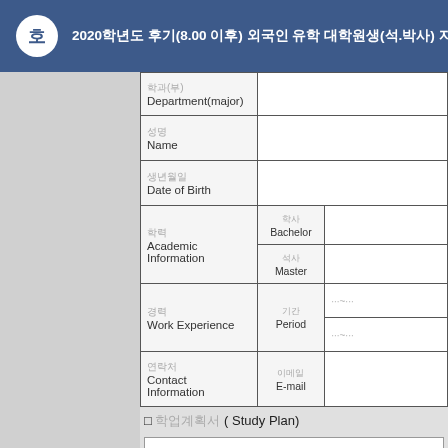호  2020학년도 후기(8.00 이후) 외국인 유학 대학원생(석.박사) 지원서류.hwp
| Field (Korean/English) | Sub-label | Value |
| --- | --- | --- |
| 학과(부) / Department(major) |  |  |
| 성명 / Name |  |  |
| 생년월일 / Date of Birth |  |  |
| 학력 / Academic Information | 학사 / Bachelor |  |
| 학력 / Academic Information | 석사 / Master |  |
| 경력 / Work Experience | 기간 / Period | ···7··· |
| 경력 / Work Experience | 기간 / Period | ···~··· |
| 연락처 / Contact Information | 이메일 / E-mail |  |
□ 학업계획서 ( Study Plan)
□ 개인정보활용 (Personal information)